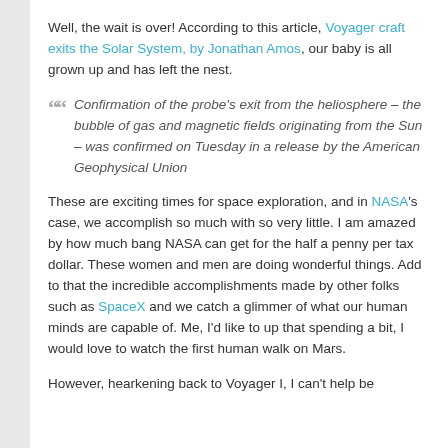Well, the wait is over! According to this article, Voyager craft exits the Solar System, by Jonathan Amos, our baby is all grown up and has left the nest.
Confirmation of the probe's exit from the heliosphere – the bubble of gas and magnetic fields originating from the Sun – was confirmed on Tuesday in a release by the American Geophysical Union
These are exciting times for space exploration, and in NASA's case, we accomplish so much with so very little. I am amazed by how much bang NASA can get for the half a penny per tax dollar. These women and men are doing wonderful things. Add to that the incredible accomplishments made by other folks such as SpaceX and we catch a glimmer of what our human minds are capable of. Me, I'd like to up that spending a bit, I would love to watch the first human walk on Mars.
However, hearkening back to Voyager I, I can't help be